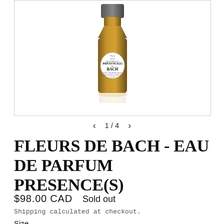[Figure (photo): Amber glass perfume bottle with round white label reading 'PRÉSENCE(S) de BACH, Eau de Parfum n°1, 55 ml, Paris' with text listing floral ingredients and 'Les Eaux de Bach'. Bottle sits on a white surface with a faint reflection below.]
1 / 4
FLEURS DE BACH - EAU DE PARFUM PRESENCE(S)
$98.00 CAD   Sold out
Shipping calculated at checkout.
Size